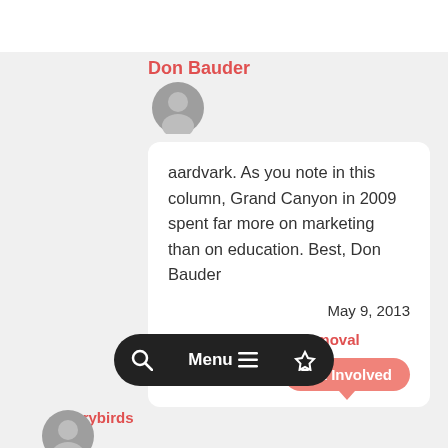Don Bauder
[Figure (illustration): User avatar icon for Don Bauder]
aardvark. As you note in this column, Grand Canyon in 2009 spent far more on marketing than on education. Best, Don Bauder
May 9, 2013
Sign in to suggest removal
Sign in to reply
Get Involved
[Figure (screenshot): Bottom navigation bar with search, Menu, and trophy icons]
angrybirds
[Figure (illustration): User avatar icon for angrybirds]